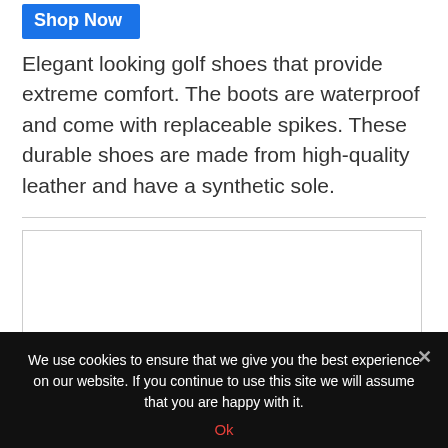[Figure (other): Blue 'Shop Now' button]
Elegant looking golf shoes that provide extreme comfort. The boots are waterproof and come with replaceable spikes. These durable shoes are made from high-quality leather and have a synthetic sole.
[Figure (other): Empty white image placeholder with light gray border]
We use cookies to ensure that we give you the best experience on our website. If you continue to use this site we will assume that you are happy with it.
Ok